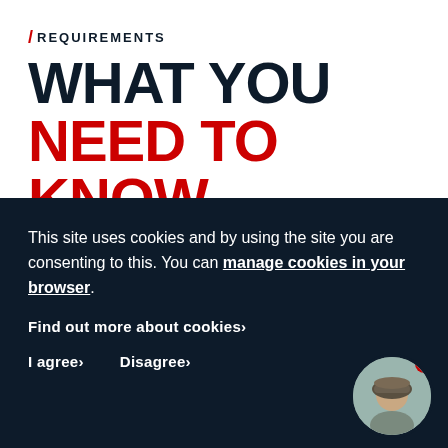/ REQUIREMENTS
WHAT YOU NEED TO KNOW
APPLICANT PROFILE
This site uses cookies and by using the site you are consenting to this. You can manage cookies in your browser.
Find out more about cookies›
I agree›   Disagree›